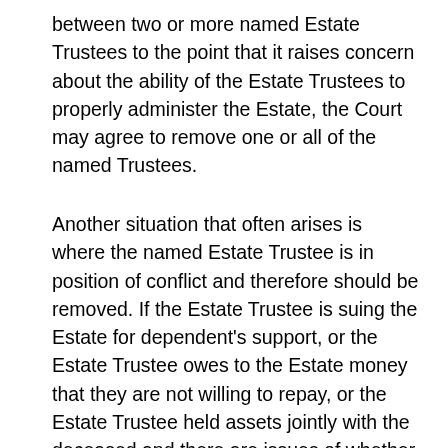between two or more named Estate Trustees to the point that it raises concern about the ability of the Estate Trustees to properly administer the Estate, the Court may agree to remove one or all of the named Trustees.
Another situation that often arises is where the named Estate Trustee is in position of conflict and therefore should be removed. If the Estate Trustee is suing the Estate for dependent's support, or the Estate Trustee owes to the Estate money that they are not willing to repay, or the Estate Trustee held assets jointly with the deceased and there are issues of whether those assets should fall within the Estate, then they